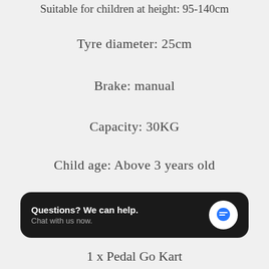Suitable for children at height: 95-140cm
Tyre diameter: 25cm
Brake: manual
Capacity: 30KG
Child age: Above 3 years old
Color: Blue
[Figure (screenshot): Dark chat widget overlay with text 'Questions? We can help. Chat with us now.' and a blue speech bubble icon on the right]
1 x Pedal Go Kart